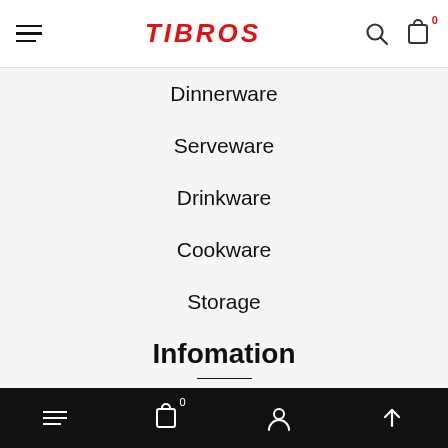TIBROS — navigation header with hamburger menu, logo, search and cart icons
Dinnerware
Serveware
Drinkware
Cookware
Storage
Infomation
Privacy Policy
Shipping Policy
Terms of Service
Bottom navigation bar with menu, cart (0), account, and scroll-up icons